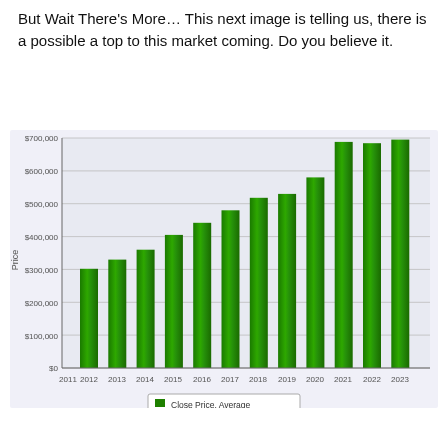But Wait There's More… This next image is telling us, there is a possible a top to this market coming. Do you believe it.
[Figure (bar-chart): ]
Close Price, Average